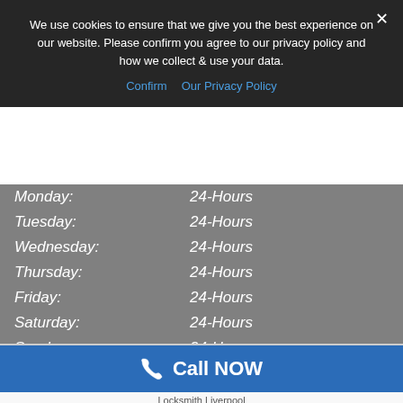We use cookies to ensure that we give you the best experience on our website. Please confirm you agree to our privacy policy and how we collect & use your data.
Confirm   Our Privacy Policy
| Day | Hours |
| --- | --- |
| Monday: | 24-Hours |
| Tuesday: | 24-Hours |
| Wednesday: | 24-Hours |
| Thursday: | 24-Hours |
| Friday: | 24-Hours |
| Saturday: | 24-Hours |
| Sunday: | 24-Hours |
WE ARE OPEN 24-HOURS A DAY 7 DAYS A WEEK
Call NOW
Locksmith Liverpool